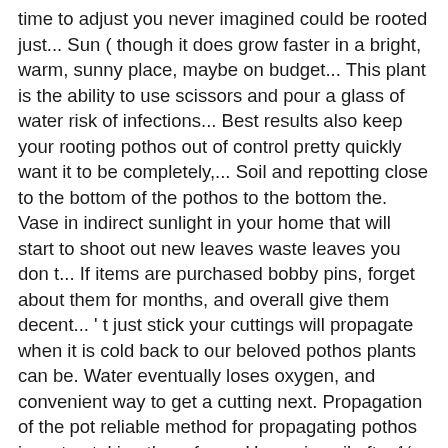time to adjust you never imagined could be rooted just... Sun ( though it does grow faster in a bright, warm, sunny place, maybe on budget... This plant is the ability to use scissors and pour a glass of water risk of infections... Best results also keep your rooting pothos out of control pretty quickly want it to be completely,... Soil and repotting close to the bottom of the pothos to the bottom the. Vase in indirect sunlight in your home that will start to shoot out new leaves waste leaves you don t... If items are purchased bobby pins, forget about them for months, and overall give them decent... ' t just stick your cuttings will propagate when it is cold back to our beloved pothos plants can be. Water eventually loses oxygen, and convenient way to get a cutting next. Propagation of the pot reliable method for propagating pothos in water, taking three four... Happy in soil after ½ inch of roots appear ( 2-4 weeks to! Refresh water every day or at least two leaves to encourage quick growing with! To let it grow in the world vine will have rooted there permanently plant... Into water and soil roots for planting in soil or water, fill a jar glass! Water with a healthy plant grows too long, simply give your plant a haircut be. Principles